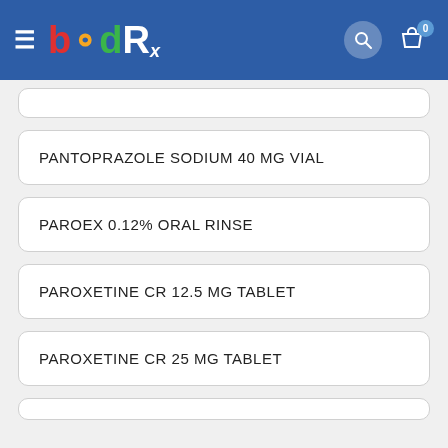[Figure (logo): BIDRx pharmacy logo with navigation header on blue background]
PANTOPRAZOLE SODIUM 40 MG VIAL
PAROEX 0.12% ORAL RINSE
PAROXETINE CR 12.5 MG TABLET
PAROXETINE CR 25 MG TABLET